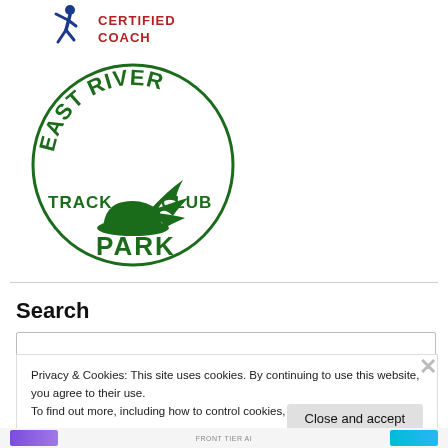[Figure (logo): USATF Certified Coach logo with blue running figure icon and red bold text reading CERTIFIED COACH]
[Figure (logo): East River Park Track Club logo with green arched text EAST RIVER at top, TRACK CLUB on sides, winged shoe in center, and PARK at bottom in green bold text]
Search
Privacy & Cookies: This site uses cookies. By continuing to use this website, you agree to their use.
To find out more, including how to control cookies, see here: Cookie Policy
Close and accept